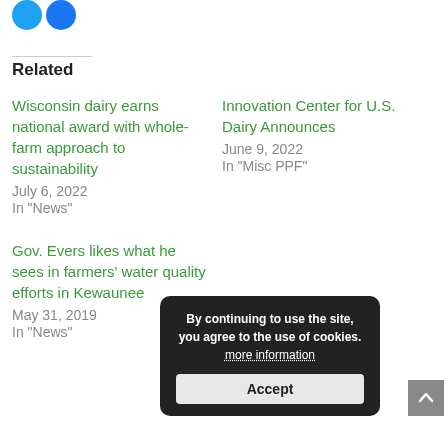Related
Wisconsin dairy earns national award with whole-farm approach to sustainability
July 6, 2022
In "News"
Innovation Center for U.S. Dairy Announces
June 9, 2022
In "Misc PPF"
Gov. Evers likes what he sees in farmers' water quality efforts in Kewaunee
May 31, 2019
In "News"
By continuing to use the site, you agree to the use of cookies. more information
Accept